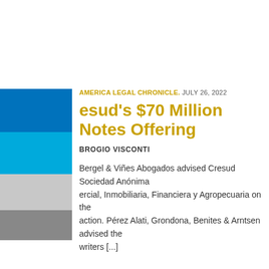AMERICA LEGAL CHRONICLE. JULY 26, 2022
Cresud's $70 Million Notes Offering
AMBROGIO VISCONTI
Bergel & Viñes Abogados advised Cresud Sociedad Anónima Comercial, Inmobiliaria, Financiera y Agropecuaria on the transaction. Pérez Alati, Grondona, Benites & Arntsen advised the underwriters [...]